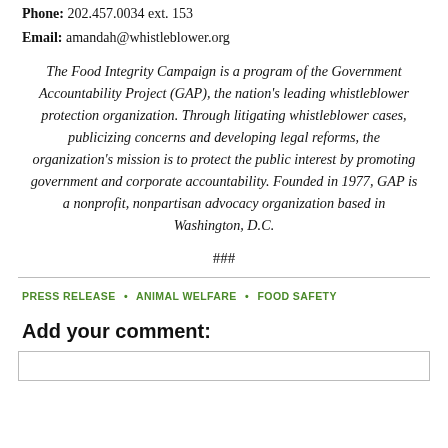Phone: 202.457.0034 ext. 153
Email: amandah@whistleblower.org
The Food Integrity Campaign is a program of the Government Accountability Project (GAP), the nation's leading whistleblower protection organization. Through litigating whistleblower cases, publicizing concerns and developing legal reforms, the organization's mission is to protect the public interest by promoting government and corporate accountability. Founded in 1977, GAP is a nonprofit, nonpartisan advocacy organization based in Washington, D.C.
###
PRESS RELEASE • ANIMAL WELFARE • FOOD SAFETY
Add your comment: